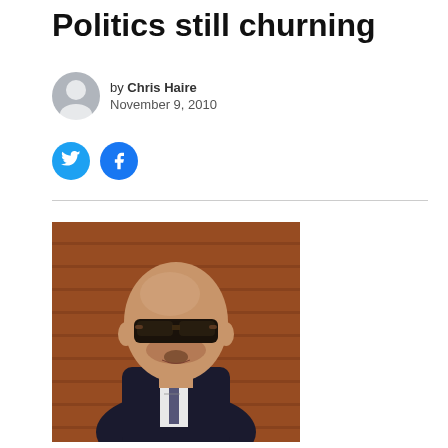Politics still churning
by Chris Haire
November 9, 2010
[Figure (photo): Photo of a bald man wearing dark wraparound sunglasses and a dark suit with a striped tie, standing in front of a brick wall background. The man appears to be speaking or mid-expression.]